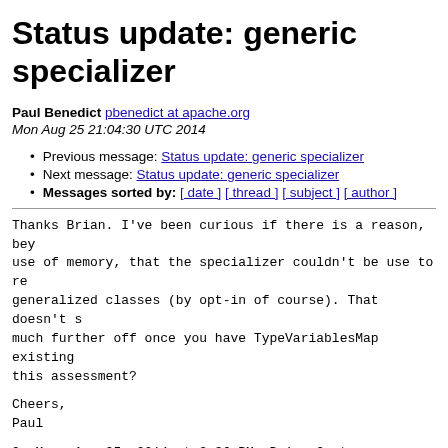Status update: generic specializer
Paul Benedict pbenedict at apache.org
Mon Aug 25 21:04:30 UTC 2014
Previous message: Status update: generic specializer
Next message: Status update: generic specializer
Messages sorted by: [ date ] [ thread ] [ subject ] [ author ]
Thanks Brian. I've been curious if there is a reason, beyond use of memory, that the specializer couldn't be use to re generalized classes (by opt-in of course). That doesn't s much further off once you have TypeVariablesMap existing this assessment?
Cheers,
Paul
On Mon, Aug 25, 2014 at 3:36 PM, Brian Goetz <brian.goetz
> We've gotten the generic specializer to a point where